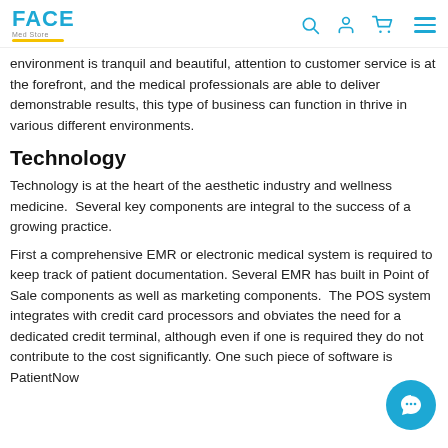FACE Med Store — navigation header
environment is tranquil and beautiful, attention to customer service is at the forefront, and the medical professionals are able to deliver demonstrable results, this type of business can function in thrive in various different environments.
Technology
Technology is at the heart of the aesthetic industry and wellness medicine.  Several key components are integral to the success of a growing practice.
First a comprehensive EMR or electronic medical system is required to keep track of patient documentation. Several EMR has built in Point of Sale components as well as marketing components.  The POS system integrates with credit card processors and obviates the need for a dedicated credit terminal, although even if one is required they do not contribute to the cost significantly. One such piece of software is PatientNow